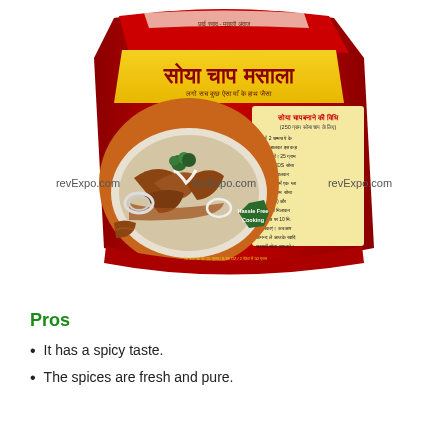[Figure (photo): Product packaging image of SDS Soya Chaap Masala spice packet with Hindi text, red and yellow color scheme, showing a plate of soya chaap dish with onion rings and garnish, and a 'Hassle Free Cooking' badge.]
revExpo.com   revExpo.com   revExpo.com
Pros
It has a spicy taste.
The spices are fresh and pure.